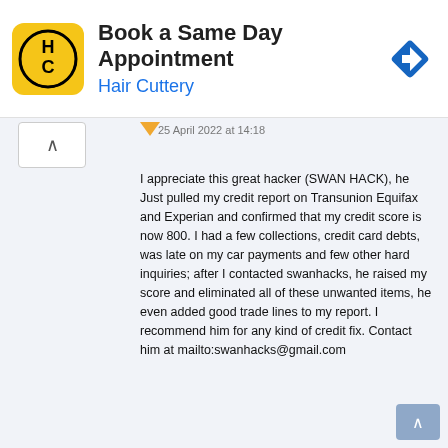[Figure (infographic): Hair Cuttery advertisement banner with logo, text 'Book a Same Day Appointment', subtitle 'Hair Cuttery', and a blue navigation arrow icon]
25 April 2022 at 14:18
I appreciate this great hacker (SWAN HACK), he Just pulled my credit report on Transunion Equifax and Experian and confirmed that my credit score is now 800. I had a few collections, credit card debts, was late on my car payments and few other hard inquiries; after I contacted swanhacks, he raised my score and eliminated all of these unwanted items, he even added good trade lines to my report. I recommend him for any kind of credit fix. Contact him at mailto:swanhacks@gmail.com
Bradley Figueroa
27 April 2022 at 02:43
i want to sincerely appreciate Billy Hoffman for his help, sometimes in January I came across his email and phone